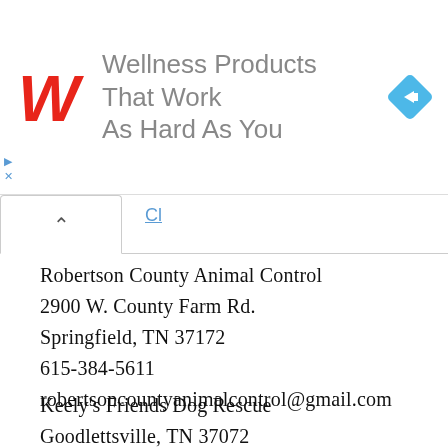[Figure (screenshot): Walgreens advertisement banner: red Walgreens cursive W logo, text 'Wellness Products That Work As Hard As You' in gray, blue diamond navigation icon on right]
Robertson County Animal Control
2900 W. County Farm Rd.
Springfield, TN 37172
615-384-5611
robertsoncountyanimalcontrol@gmail.com
Keely's Friends Dog Rescue
Goodlettsville, TN 37072